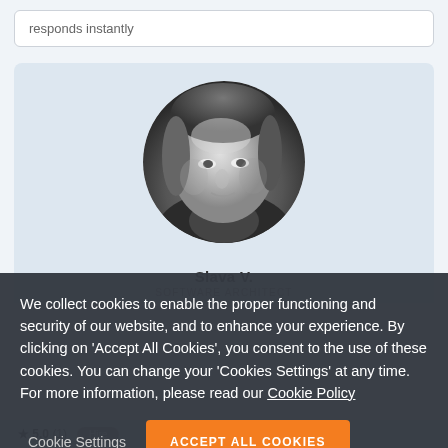responds instantly
[Figure (photo): Circular black-and-white headshot portrait of Slava V., a middle-aged man, shown from shoulders up]
Slava V.
Software Architect
We collect cookies to enable the proper functioning and security of our website, and to enhance your experience. By clicking on 'Accept All Cookies', you consent to the use of these cookies. You can change your 'Cookies Settings' at any time. For more information, please read our Cookie Policy
Cookie Settings
ACCEPT ALL COOKIES
5.0 (1)